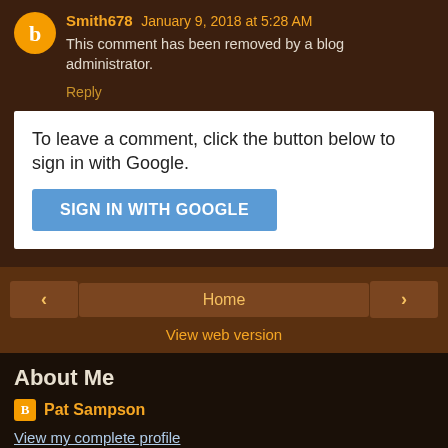Smith678 January 9, 2018 at 5:28 AM
This comment has been removed by a blog administrator.
Reply
To leave a comment, click the button below to sign in with Google.
SIGN IN WITH GOOGLE
Home
View web version
About Me
Pat Sampson
View my complete profile
Powered by Blogger.